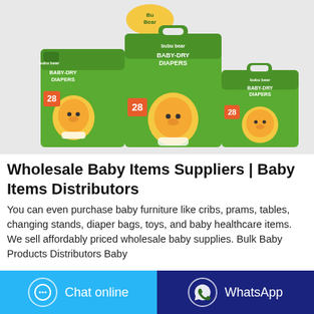[Figure (photo): Product photo showing three packages of 'bubu bear BABY-DRY DIAPERS' in green and white packaging with a cartoon bear mascot, each showing '28' count, arranged in different sizes against a light gray background with the Bubu bear logo at top.]
Wholesale Baby Items Suppliers | Baby Items Distributors
You can even purchase baby furniture like cribs, prams, tables, changing stands, diaper bags, toys, and baby healthcare items. We sell affordably priced wholesale baby supplies. Bulk Baby Products Distributors Baby
Chat online
WhatsApp